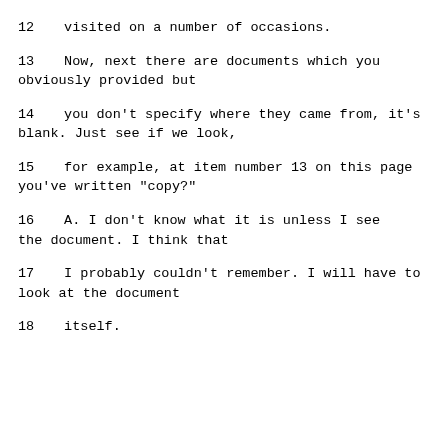12    visited on a number of occasions.
13          Now, next there are documents which you obviously provided but
14    you don't specify where they came from, it's blank.  Just see if we look,
15    for example, at item number 13 on this page you've written "copy?"
16        A.   I don't know what it is unless I see the document.  I think that
17    I probably couldn't remember.  I will have to look at the document
18    itself.